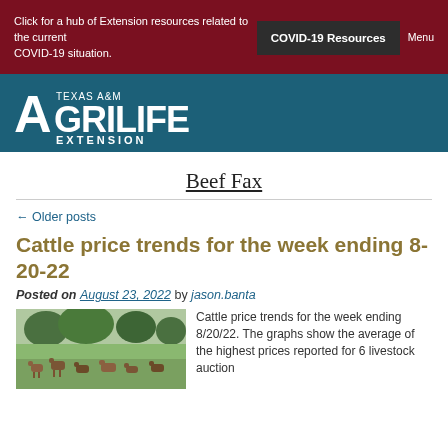Click for a hub of Extension resources related to the current COVID-19 situation. COVID-19 Resources Menu
[Figure (logo): Texas A&M AgriLife Extension logo on teal/blue background]
Beef Fax
← Older posts
Cattle price trends for the week ending 8-20-22
Posted on August 23, 2022 by jason.banta
[Figure (photo): Photo of cattle grazing in a green field with trees in background]
Cattle price trends for the week ending 8/20/22. The graphs show the average of the highest prices reported for 6 livestock auction